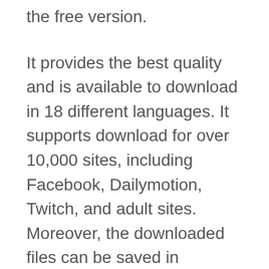the free version.
It provides the best quality and is available to download in 18 different languages. It supports download for over 10,000 sites, including Facebook, Dailymotion, Twitch, and adult sites. Moreover, the downloaded files can be saved in numerous types, including AVI, MP4, MP3, and FLV.
All these features all downloading audio clips, films, series, movies, cartoons, etc. Now some pros and cons of Freemake video downloader.